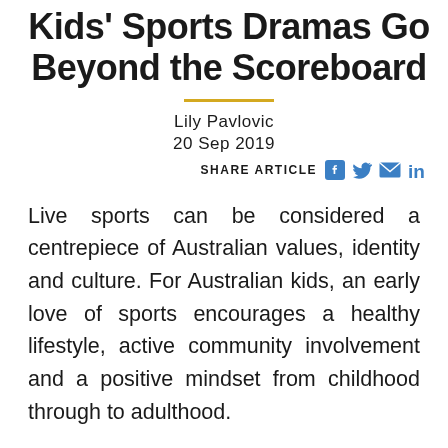Kids' Sports Dramas Go Beyond the Scoreboard
Lily Pavlovic
20 Sep 2019
SHARE ARTICLE
Live sports can be considered a centrepiece of Australian values, identity and culture. For Australian kids, an early love of sports encourages a healthy lifestyle, active community involvement and a positive mindset from childhood through to adulthood.